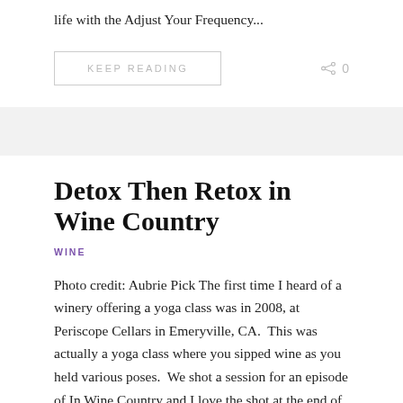life with the Adjust Your Frequency...
KEEP READING
0
Detox Then Retox in Wine Country
WINE
Photo credit: Aubrie Pick The first time I heard of a winery offering a yoga class was in 2008, at Periscope Cellars in Emeryville, CA.  This was actually a yoga class where you sipped wine as you held various poses.  We shot a session for an episode of In Wine Country and I love the shot at the end of the woman holding the wine glass with her foot. Since the site sags that the same they also gave me a site. A senior...